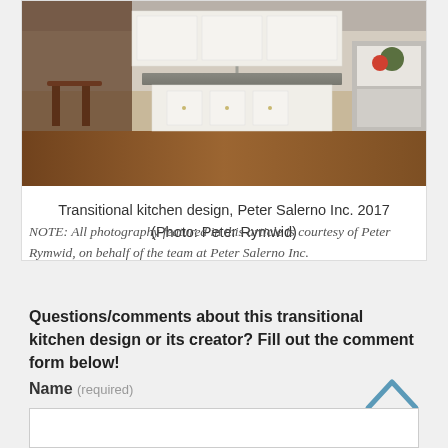[Figure (photo): Transitional kitchen design photo by Peter Rymwid for Peter Salerno Inc. showing white cabinetry, kitchen island with dark countertops, bar stools, and stainless steel appliances.]
Transitional kitchen design, Peter Salerno Inc. 2017 (Photo: Peter Rymwid)
NOTE: All photography featured in this article is courtesy of Peter Rymwid, on behalf of the team at Peter Salerno Inc.
Questions/comments about this transitional kitchen design or its creator? Fill out the comment form below!
Name (required)